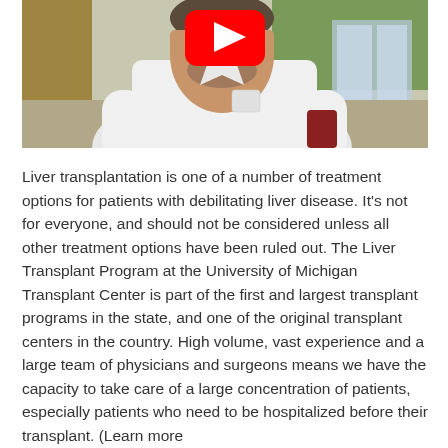[Figure (photo): A man in a white shirt photographed outdoors with a YouTube play button overlay in the upper center of the image.]
Liver transplantation is one of a number of treatment options for patients with debilitating liver disease. It's not for everyone, and should not be considered unless all other treatment options have been ruled out. The Liver Transplant Program at the University of Michigan Transplant Center is part of the first and largest transplant programs in the state, and one of the original transplant centers in the country. High volume, vast experience and a large team of physicians and surgeons means we have the capacity to take care of a large concentration of patients, especially patients who need to be hospitalized before their transplant. (Learn more